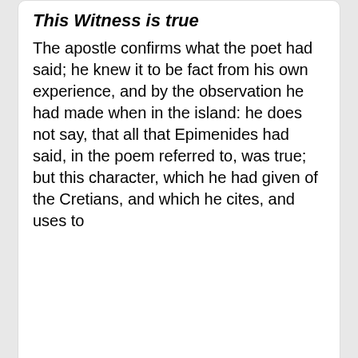This Witness is true
The apostle confirms what the poet had said; he knew it to be fact from his own experience, and by the observation he had made when in the island: he does not say, that all that Epimenides had said, in the poem referred to, was true; but this character, which he had given of the Cretians, and which he cites, and uses to
Read More
Taken from John Gill's Exposition of the Bible
Titus 1:13 In-Context